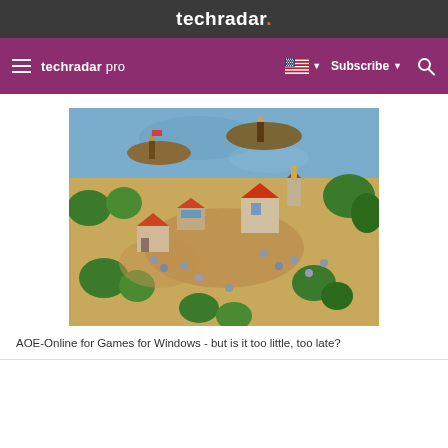techradar.
techradar pro  Subscribe
[Figure (screenshot): Screenshot of Age of Empires Online game showing an isometric view with buildings, trees, units and ships on water]
AOE-Online for Games for Windows - but is it too little, too late?